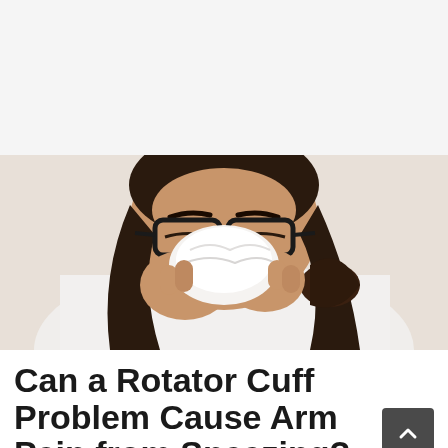[Figure (photo): White blank/advertisement area at the top of the page with light gray background]
[Figure (photo): Woman with dark hair and black glasses blowing her nose into a white tissue, wearing a white shirt, against a light background]
Can a Rotator Cuff Problem Cause Arm Pain from Sneezing?